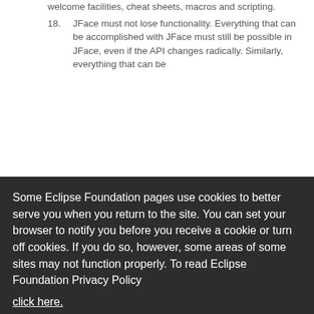welcome facilities, cheat sheets, macros and scripting.
18. JFace must not lose functionality. Everything that can be accomplished with JFace must still be possible in JFace, even if the API changes radically. Similarly, everything that can be
Some Eclipse Foundation pages use cookies to better serve you when you return to the site. You can set your browser to notify you before you receive a cookie or turn off cookies. If you do so, however, some areas of some sites may not function properly. To read Eclipse Foundation Privacy Policy click here.
how – been based on instances of IAction.